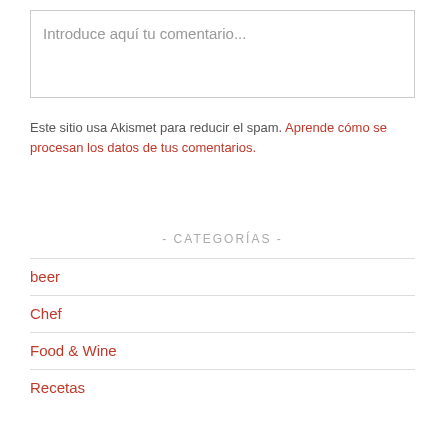Introduce aquí tu comentario...
Este sitio usa Akismet para reducir el spam. Aprende cómo se procesan los datos de tus comentarios.
- CATEGORÍAS -
beer
Chef
Food & Wine
Recetas